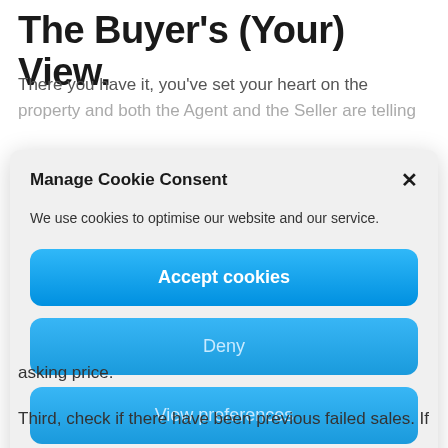The Buyer's (Your) View.
There you have it, you've set your heart on the property and both the Agent and the Seller are telling
[Figure (screenshot): Cookie consent modal dialog with title 'Manage Cookie Consent', close button (×), descriptive text 'We use cookies to optimise our website and our service.', three buttons: 'Accept cookies', 'Deny', 'View preferences', and two links: 'Privacy Policy' and 'Privacy Policy'.]
asking price.
Third, check if there have been previous failed sales. If